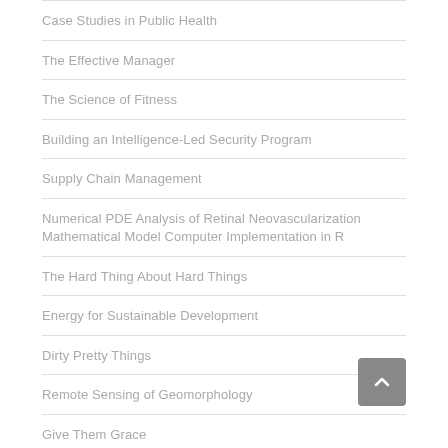Case Studies in Public Health
The Effective Manager
The Science of Fitness
Building an Intelligence-Led Security Program
Supply Chain Management
Numerical PDE Analysis of Retinal Neovascularization Mathematical Model Computer Implementation in R
The Hard Thing About Hard Things
Energy for Sustainable Development
Dirty Pretty Things
Remote Sensing of Geomorphology
Give Them Grace
Visual Theology